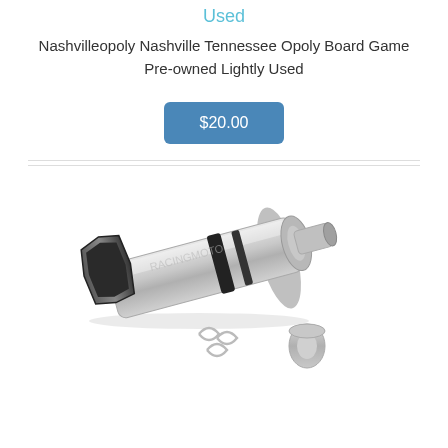Used
Nashvilleopoly Nashville Tennessee Opoly Board Game Pre-owned Lightly Used
$20.00
[Figure (photo): Photo of a motorcycle exhaust muffler/silencer in stainless steel with a black hexagonal tip, shown with a small end cap and spring clips.]